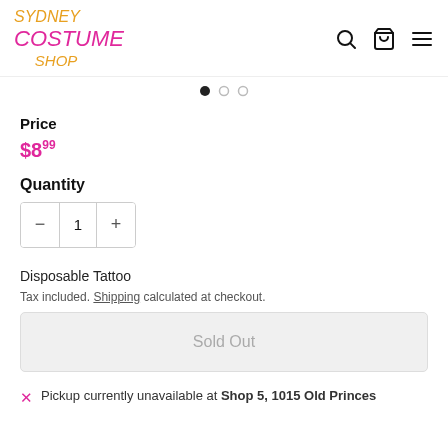Sydney Costume Shop
Price
$8.99
Quantity
1
Disposable Tattoo
Tax included. Shipping calculated at checkout.
Sold Out
Pickup currently unavailable at Shop 5, 1015 Old Princes